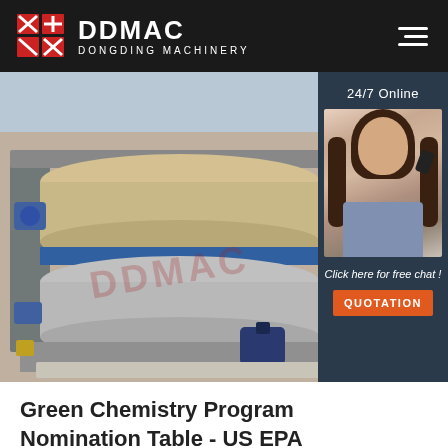[Figure (logo): DDMAC Dongding Machinery logo with red geometric icon on dark header bar]
[Figure (photo): Industrial belt filter press machinery in a factory setting, large cylindrical rollers visible, stainless steel construction with blue motor components]
[Figure (photo): 24/7 online chat widget showing a female customer service agent wearing a headset, with dark blue background, text 'Click here for free chat!' and orange QUOTATION button]
Green Chemistry Program Nomination Table - US EPA